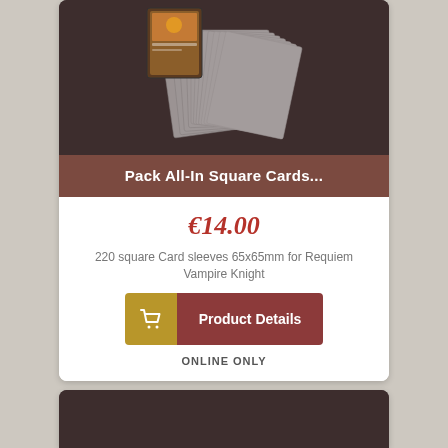[Figure (photo): Product image showing a stack of transparent square card sleeves 65x65mm fanned out against a dark brown background, with a card game box visible at top left]
Pack All-In Square Cards...
€14.00
220 square Card sleeves 65x65mm for Requiem Vampire Knight
Product Details
ONLINE ONLY
[Figure (photo): Partial view of a second product card with dark brown background image area]